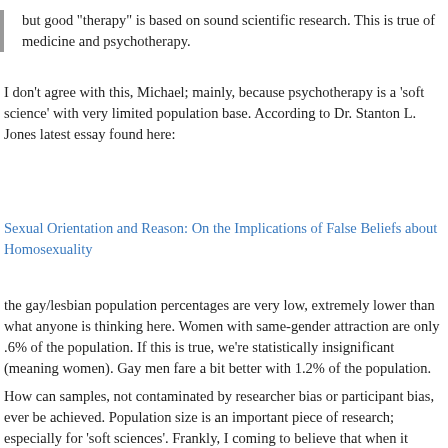but good "therapy" is based on sound scientific research. This is true of medicine and psychotherapy.
I don't agree with this, Michael; mainly, because psychotherapy is a 'soft science' with very limited population base. According to Dr. Stanton L. Jones latest essay found here:
Sexual Orientation and Reason: On the Implications of False Beliefs about Homosexuality
the gay/lesbian population percentages are very low, extremely lower than what anyone is thinking here. Women with same-gender attraction are only .6% of the population. If this is true, we're statistically insignificant (meaning women). Gay men fare a bit better with 1.2% of the population.
How can samples, not contaminated by researcher bias or participant bias, ever be achieved. Population size is an important piece of research; especially for 'soft sciences'. Frankly, I coming to believe that when it comes to sexual orientation, research studies are next to impossible to